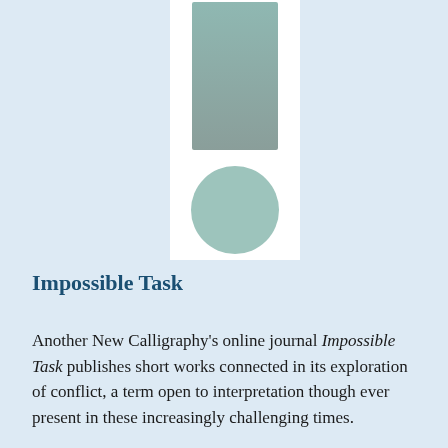[Figure (illustration): A vertical rectangular panel on a white background containing a tall teal-grey gradient rectangle at the top and a teal-grey circle below it, resembling an abstract traffic light or minimalist icon.]
Impossible Task
Another New Calligraphy's online journal Impossible Task publishes short works connected in its exploration of conflict, a term open to interpretation though ever present in these increasingly challenging times.